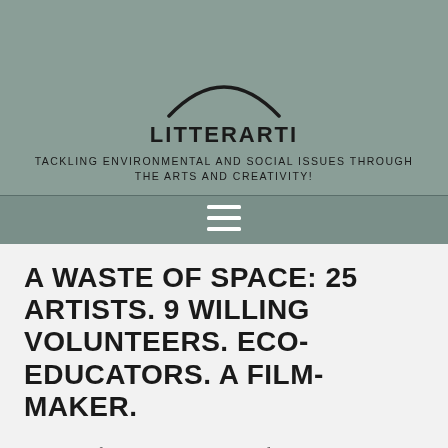[Figure (logo): Partial arc/oval logo shape at top of page header, black outline on sage green background]
LITTERARTI
TACKLING ENVIRONMENTAL AND SOCIAL ISSUES THROUGH THE ARTS AND CREATIVITY!
[Figure (other): Hamburger menu icon (three horizontal white lines) on darker sage green navigation bar]
A WASTE OF SPACE: 25 ARTISTS. 9 WILLING VOLUNTEERS. ECO-EDUCATORS. A FILM-MAKER.
A WASTEofSPACE is the brainchild of Pete Margerum and Annali Alletha with the vision